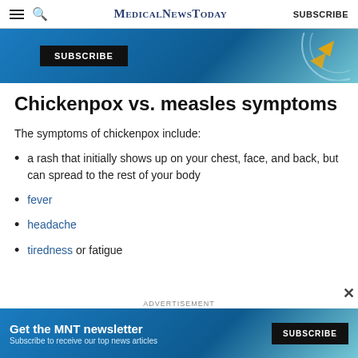MedicalNewsToday  SUBSCRIBE
[Figure (screenshot): Blue advertisement banner with a SUBSCRIBE button and circular graphic on the right]
Chickenpox vs. measles symptoms
The symptoms of chickenpox include:
a rash that initially shows up on your chest, face, and back, but can spread to the rest of your body
fever
headache
tiredness or fatigue
[Figure (screenshot): Blue advertisement banner for MNT newsletter with SUBSCRIBE button at bottom of page]